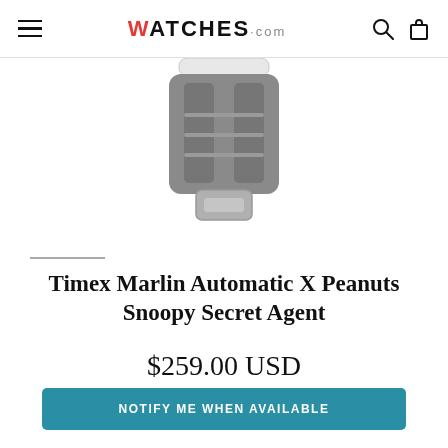WATCHES.com
[Figure (photo): Partial view of a watch clasp or bracelet in gray/silver tones, cropped at the top of the product image area]
Timex Marlin Automatic X Peanuts Snoopy Secret Agent
$259.00 USD
Starting at $24/mo with affirm. Prequalify now
NOTIFY ME WHEN AVAILABLE